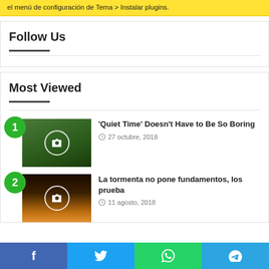el menú de configuración de Tema > Instalar plugins.
Follow Us
Most Viewed
1. 'Quiet Time' Doesn't Have to Be So Boring — 27 octubre, 2018
2. La tormenta no pone fundamentos, los prueba — 11 agosto, 2018